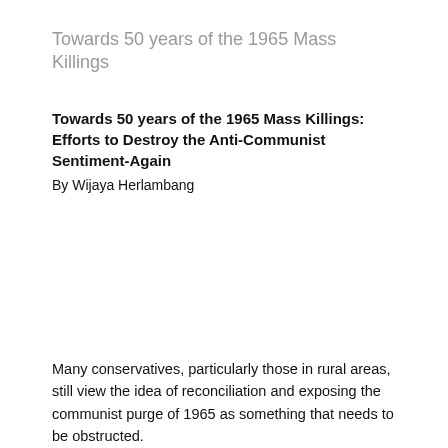Towards 50 years of the 1965 Mass Killings
Towards 50 years of the 1965 Mass Killings:
Efforts to Destroy the Anti-Communist Sentiment-Again
By Wijaya Herlambang
Many conservatives, particularly those in rural areas, still view the idea of reconciliation and exposing the communist purge of 1965 as something that needs to be obstructed.